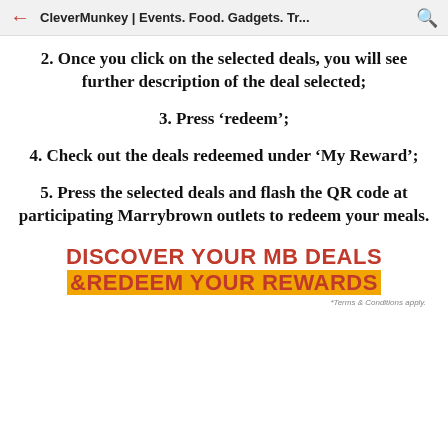CleverMunkey | Events. Food. Gadgets. Tr...
2. Once you click on the selected deals, you will see further description of the deal selected;
3. Press ‘redeem’;
4. Check out the deals redeemed under ‘My Reward’;
5. Press the selected deals and flash the QR code at participating Marrybrown outlets to redeem your meals.
DISCOVER YOUR MB DEALS &REDEEM YOUR REWARDS
*Terms & Conditions apply.